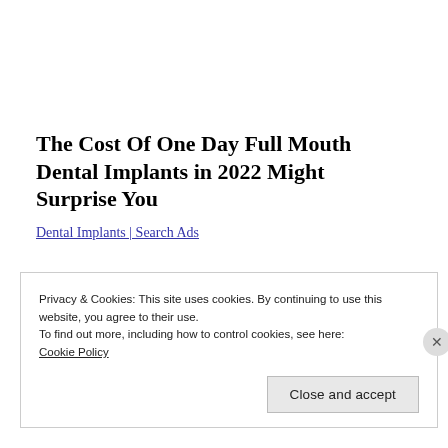The Cost Of One Day Full Mouth Dental Implants in 2022 Might Surprise You
Dental Implants | Search Ads
Privacy & Cookies: This site uses cookies. By continuing to use this website, you agree to their use. To find out more, including how to control cookies, see here: Cookie Policy
Close and accept